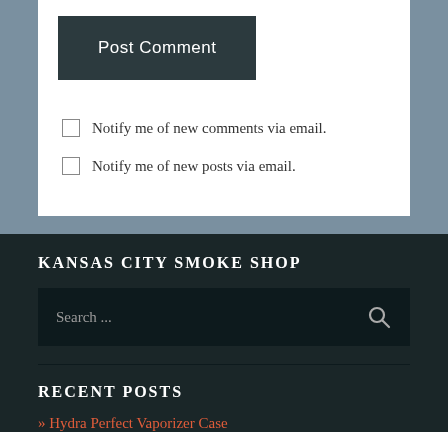Post Comment
Notify me of new comments via email.
Notify me of new posts via email.
KANSAS CITY SMOKE SHOP
Search ...
RECENT POSTS
» Hydra Perfect Vaporizer Case